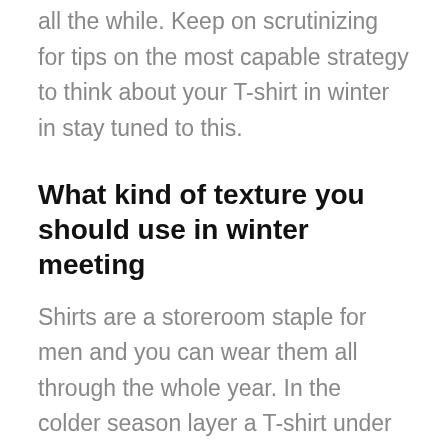all the while. Keep on scrutinizing for tips on the most capable strategy to think about your T-shirt in winter in stay tuned to this.
What kind of texture you should use in winter meeting
Shirts are a storeroom staple for men and you can wear them all through the whole year. In the colder season layer a T-shirt under a hoodie to keep you warm. The following are a couple of clues on the most capable strategy to style and manage your T-shirts in the colder season. Exactly when